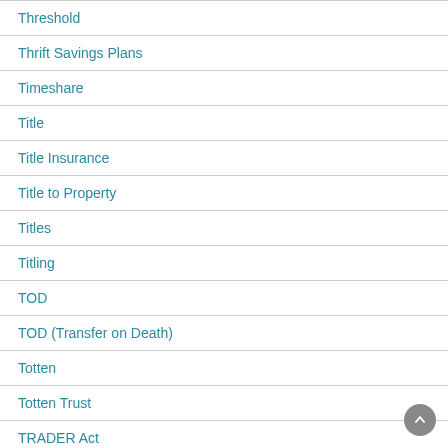Threshold
Thrift Savings Plans
Timeshare
Title
Title Insurance
Title to Property
Titles
Titling
TOD
TOD (Transfer on Death)
Totten
Totten Trust
TRADER Act